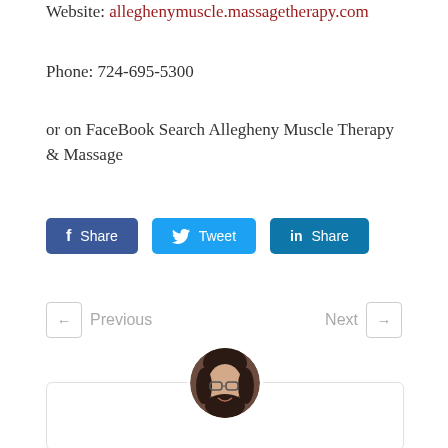Website: alleghenymusc le.massagetherapy.com
Phone: 724-695-5300
or on FaceBook Search Allegheny Muscle Therapy & Massage
[Figure (screenshot): Social media share buttons: Facebook Share (blue), Twitter Tweet (light blue), LinkedIn Share (dark blue)]
[Figure (screenshot): Navigation buttons: left arrow Previous | Next right arrow]
[Figure (photo): Circular author avatar photo of a woman with dark hair and glasses, smiling, in a rounded border frame]